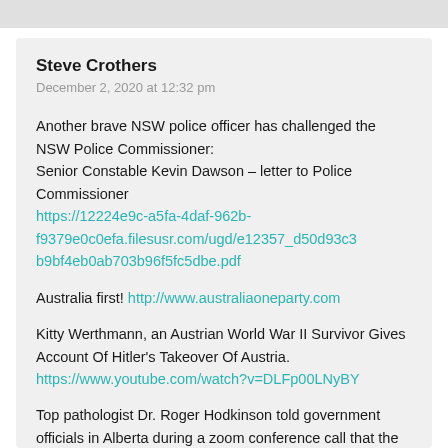Steve Crothers
December 2, 2020 at 12:32 pm
Another brave NSW police officer has challenged the NSW Police Commissioner:
Senior Constable Kevin Dawson – letter to Police Commissioner
https://12224e9c-a5fa-4daf-962b-f9379e0c0efa.filesusr.com/ugd/e12357_d50d93c3b9bf4eb0ab703b96f5fc5dbe.pdf
Australia first! http://www.australiaoneparty.com
Kitty Werthmann, an Austrian World War II Survivor Gives Account Of Hitler's Takeover Of Austria.
https://www.youtube.com/watch?v=DLFp00LNyBY
Top pathologist Dr. Roger Hodkinson told government officials in Alberta during a zoom conference call that the coronavirus vaccine is in...